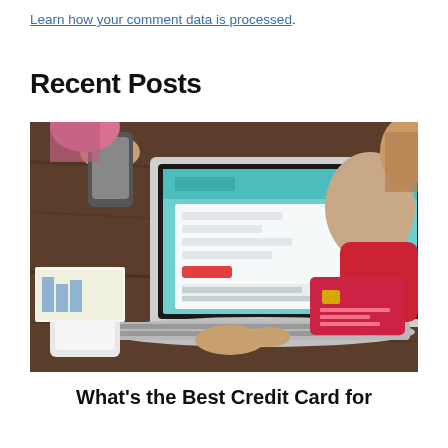Learn how your comment data is processed.
Recent Posts
[Figure (photo): Woman sitting at a desk holding a red credit card in her right hand while typing on a laptop with a travel booking website open on screen. Other people visible in the background.]
What's the Best Credit Card for